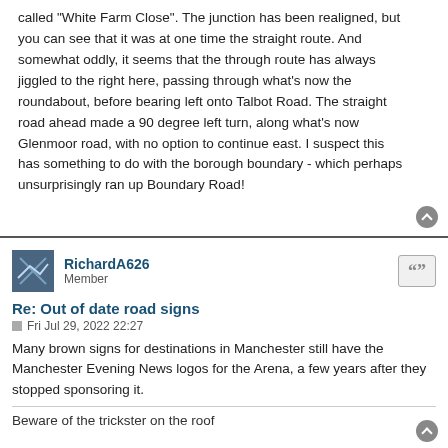called "White Farm Close". The junction has been realigned, but you can see that it was at one time the straight route. And somewhat oddly, it seems that the through route has always jiggled to the right here, passing through what's now the roundabout, before bearing left onto Talbot Road. The straight road ahead made a 90 degree left turn, along what's now Glenmoor road, with no option to continue east. I suspect this has something to do with the borough boundary - which perhaps unsurprisingly ran up Boundary Road!
RichardA626
Member
Re: Out of date road signs
Fri Jul 29, 2022 22:27
Many brown signs for destinations in Manchester still have the Manchester Evening News logos for the Arena, a few years after they stopped sponsoring it.
Beware of the trickster on the roof